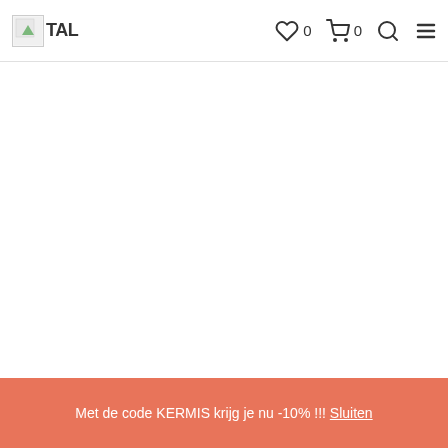TAL | ♡ 0 | 🛒 0 | 🔍 | ☰
Met de code KERMIS krijg je nu -10% !!! Sluiten